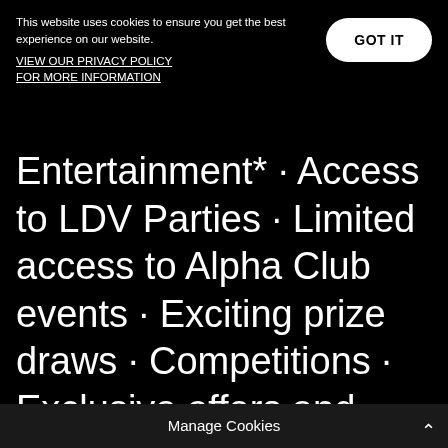This website uses cookies to ensure you get the best experience on our website.
VIEW OUR PRIVACY POLICY FOR MORE INFORMATION
GOT IT
Entertainment* · Access to LDV Parties · Limited access to Alpha Club events · Exciting prize draws · Competitions · Exclusive offers and discounts · Thousands of cashback incentives · Discounts at selected hospitality venues · Exclusive travel offers and discounts. La Dolce Vita Clubcard is avai                   nly
Manage Cookies